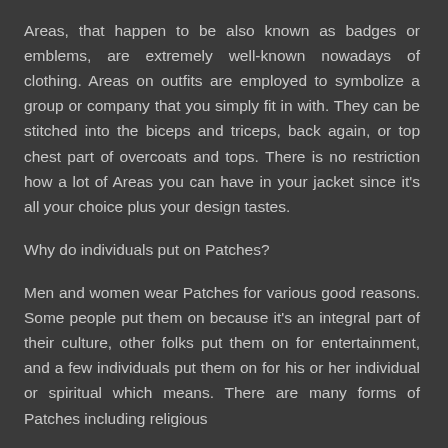Areas, that happen to be also known as badges or emblems, are extremely well-known nowadays of clothing. Areas on outfits are employed to symbolize a group or company that you simply fit in with. They can be stitched into the biceps and triceps, back again, or top chest part of overcoats and tops. There is no restriction how a lot of Areas you can have in your jacket since it's all your choice plus your design tastes.
Why do individuals put on Patches?
Men and women wear Patches for various good reasons. Some people put them on because it's an integral part of their culture, other folks put them on for entertainment, and a few individuals put them on for his or her individual or spiritual which means. There are many forms of Patches including religious